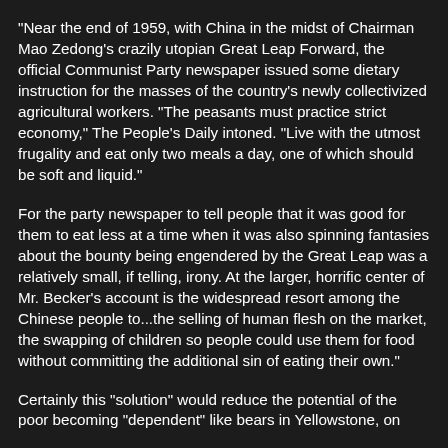"Near the end of 1959, with China in the midst of Chairman Mao Zedong's crazily utopian Great Leap Forward, the official Communist Party newspaper issued some dietary instruction for the masses of the country's newly collectivized agricultural workers. "The peasants must practice strict economy," The People's Daily intoned. "Live with the utmost frugality and eat only two meals a day, one of which should be soft and liquid."
For the party newspaper to tell people that it was good for them to eat less at a time when it was also spinning fantasies about the bounty being engendered by the Great Leap was a relatively small, if telling, irony. At the larger, horrific center of Mr. Becker's account is the widespread resort among the Chinese people to...the selling of human flesh on the market, the swapping of children so people could use them for food without committing the additional sin of eating their own."
Certainly this "solution" would reduce the potential of the poor becoming "dependent" like bears in Yellowstone, on